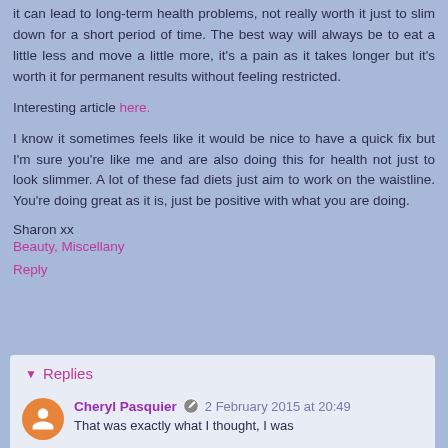it can lead to long-term health problems, not really worth it just to slim down for a short period of time. The best way will always be to eat a little less and move a little more, it's a pain as it takes longer but it's worth it for permanent results without feeling restricted.
Interesting article here.
I know it sometimes feels like it would be nice to have a quick fix but I'm sure you're like me and are also doing this for health not just to look slimmer. A lot of these fad diets just aim to work on the waistline. You're doing great as it is, just be positive with what you are doing.
Sharon xx
Beauty, Miscellany
Reply
Replies
Cheryl Pasquier  2 February 2015 at 20:49
That was exactly what I thought, I was